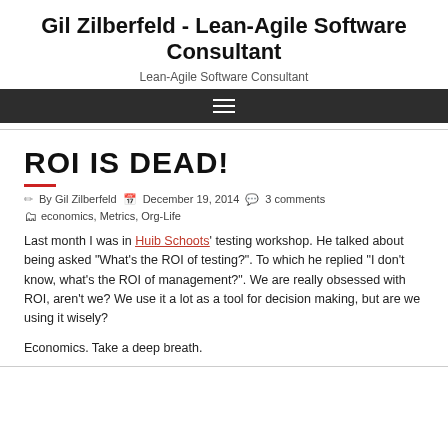Gil Zilberfeld - Lean-Agile Software Consultant
Lean-Agile Software Consultant
ROI IS DEAD!
By Gil Zilberfeld  December 19, 2014  3 comments  economics, Metrics, Org-Life
Last month I was in Huib Schoots' testing workshop. He talked about being asked “What’s the ROI of testing?”. To which he replied “I don’t know, what’s the ROI of management?”. We are really obsessed with ROI, aren’t we? We use it a lot as a tool for decision making, but are we using it wisely?
Economics. Take a deep breath.